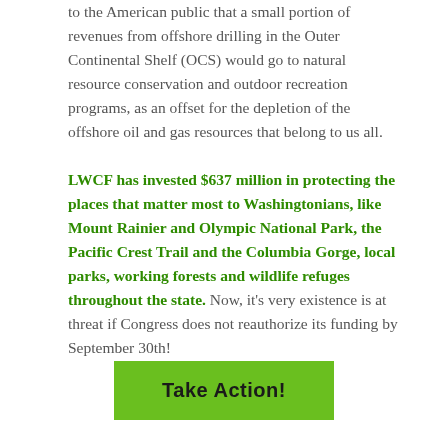to the American public that a small portion of revenues from offshore drilling in the Outer Continental Shelf (OCS) would go to natural resource conservation and outdoor recreation programs, as an offset for the depletion of the offshore oil and gas resources that belong to us all. LWCF has invested $637 million in protecting the places that matter most to Washingtonians, like Mount Rainier and Olympic National Park, the Pacific Crest Trail and the Columbia Gorge, local parks, working forests and wildlife refuges throughout the state. Now, it's very existence is at threat if Congress does not reauthorize its funding by September 30th!
Take Action!